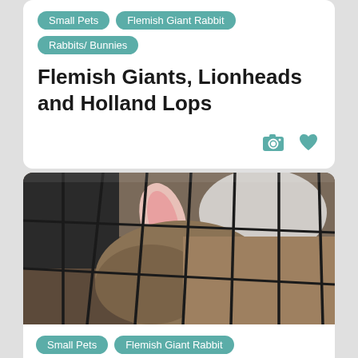Small Pets
Flemish Giant Rabbit
Rabbits/ Bunnies
Flemish Giants, Lionheads and Holland Lops
[Figure (photo): Photo of rabbits inside a wire cage, showing pink ears and brown fur, viewed through metal cage bars]
Small Pets
Flemish Giant Rabbit
Rabbits/ Bunnies